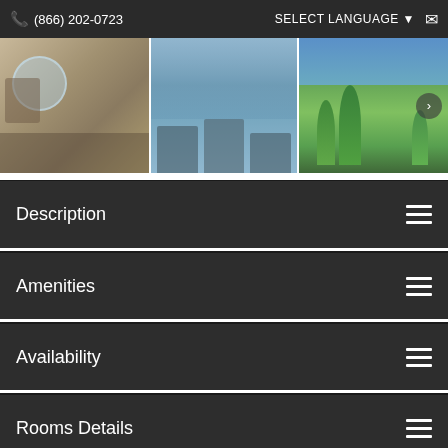(866) 202-0723  SELECT LANGUAGE  [email icon]
[Figure (photo): Three-panel photo strip of a resort: outdoor patio with glass table and chairs, balcony with lounge chairs, and tropical garden with palm trees and ocean view]
Description
Amenities
Availability
Rooms Details
[Figure (map): Google Maps embed showing property location near Casa Ybel Rd with Map/Satellite toggle, fullscreen button, Bar & Grille label, and dashed red selection box]
WE'RE HERE [phone icon] [chat icon]